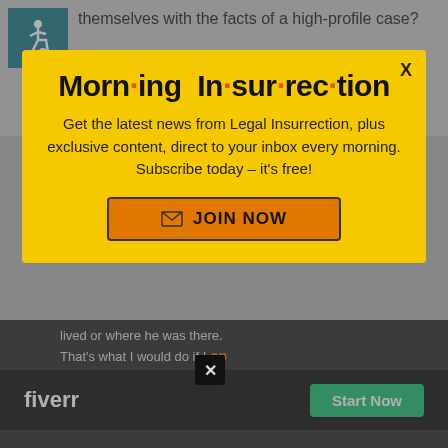[Figure (other): Wheelchair accessibility icon in teal/blue square]
themselves with the facts of a high-profile case?
inspectorudy in reply to Estragon.
[Figure (other): Morning Insurrection newsletter subscription popup modal with yellow background. Title: Morn·ing In·sur·rec·tion. Body: Get the latest news from Legal Insurrection, plus exclusive content, direct to your inbox every morning. Subscribe today – it's free! Button: JOIN NOW]
lived or where he was there. That's what I would do if I
op
[Figure (other): Fiverr advertisement banner with dark background, fiverr logo and Start Now green button]